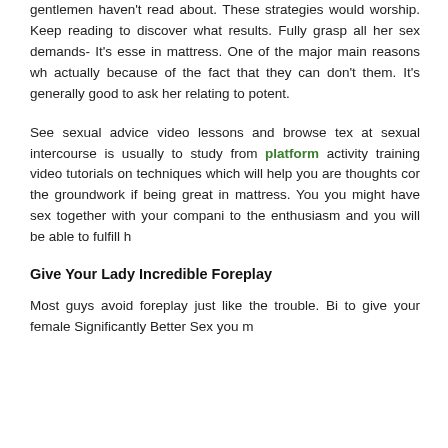gentlemen haven't read about. These strategies would worship. Keep reading to discover what results. Fully grasp all her sex demands- It's esse in mattress. One of the major main reasons wh actually because of the fact that they can don't them. It's generally good to ask her relating to potent.
See sexual advice video lessons and browse tex at sexual intercourse is usually to study from platform activity training video tutorials on techniques which will help you are thoughts cor the groundwork if being great in mattress. You you might have sex together with your compani to the enthusiasm and you will be able to fulfill h
Give Your Lady Incredible Foreplay
Most guys avoid foreplay just like the trouble. Bi to give your female Significantly Better Sex you m